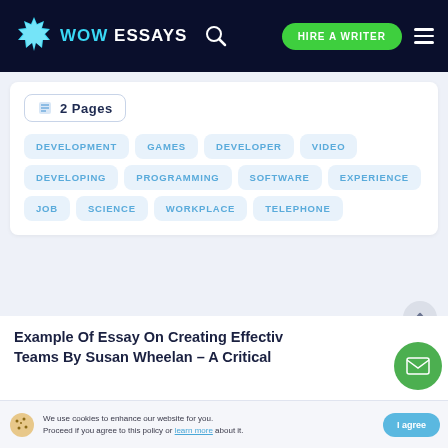WOW ESSAYS — HIRE A WRITER
2 Pages
DEVELOPMENT
GAMES
DEVELOPER
VIDEO
DEVELOPING
PROGRAMMING
SOFTWARE
EXPERIENCE
JOB
SCIENCE
WORKPLACE
TELEPHONE
Example Of Essay On Creating Effective Teams By Susan Wheelan – A Critical
We use cookies to enhance our website for you. Proceed if you agree to this policy or learn more about it.